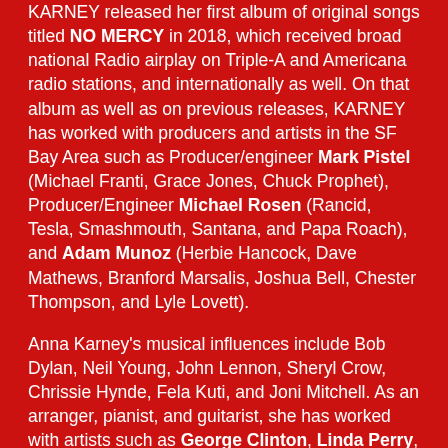KARNEY released her first album of original songs titled NO MERCY in 2018, which received broad national Radio airplay on Triple-A and Americana radio stations, and internationally as well. On that album as well as on previous releases, KARNEY has worked with producers and artists in the SF Bay Area such as Producer/engineer Mark Pistel (Michael Franti, Grace Jones, Chuck Prophet), Producer/Engineer Michael Rosen (Rancid, Tesla, Smashmouth, Santana, and Papa Roach), and Adam Munoz (Herbie Hancock, Dave Mathews, Branford Marsalis, Joshua Bell, Chester Thompson, and Lyle Lovett).
Anna Karney's musical influences include Bob Dylan, Neil Young, John Lennon, Sheryl Crow, Chrissie Hynde, Fela Kuti, and Joni Mitchell. As an arranger, pianist, and guitarist, she has worked with artists such as George Clinton, Linda Perry, and Dennis Bovell. By night the KARNEY band rocks out at clubs and events, and by day...